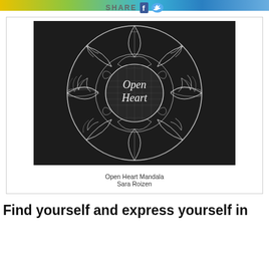SHARE
[Figure (illustration): Open Heart Mandala artwork by Sara Roizen — white chalk-style mandala drawing on dark/black background, featuring intricate petal and spiral patterns with 'Open Heart' written in the center circle in a handwritten white font.]
Open Heart Mandala
Sara Roizen
Find yourself and express yourself in